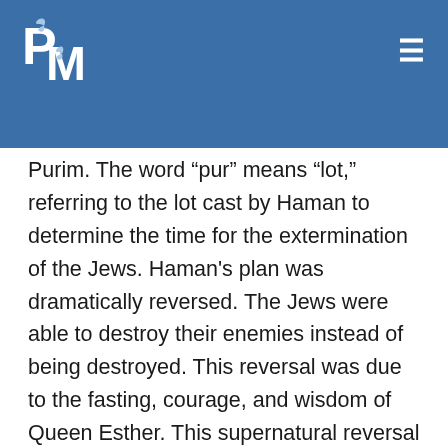PM logo and navigation
Purim. The word "pur" means "lot," referring to the lot cast by Haman to determine the time for the extermination of the Jews. Haman's plan was dramatically reversed. The Jews were able to destroy their enemies instead of being destroyed. This reversal was due to the fasting, courage, and wisdom of Queen Esther. This supernatural reversal of a plan for destruction into overwhelming victory is celebrated in the feast of Purim and prefigured the ultimate victory of Jesus.